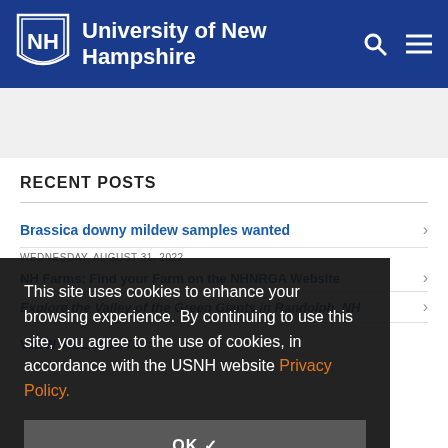University of New Hampshire
Extension
RECENT POSTS
Brassica downy mildew samples wanted
NH Farms: Find your Farm on the NHNRGA Website
Explore the Valley of the Green Giants in Randolph, NH
VIEW ALL POSTS >
This site uses cookies to enhance your browsing experience. By continuing to use this site, you agree to the use of cookies, in accordance with the USNH website Privacy Policy.
OK ✓